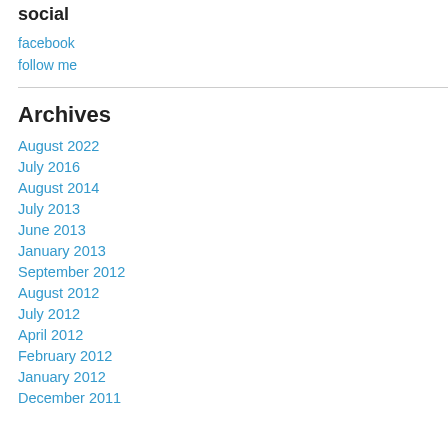social
facebook
follow me
Archives
August 2022
July 2016
August 2014
July 2013
June 2013
January 2013
September 2012
August 2012
July 2012
April 2012
February 2012
January 2012
December 2011